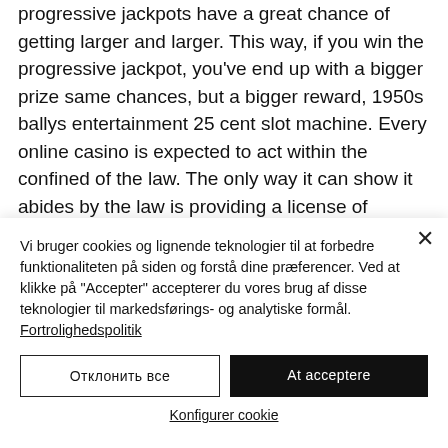progressive jackpots have a great chance of getting larger and larger. This way, if you win the progressive jackpot, you've end up with a bigger prize same chances, but a bigger reward, 1950s ballys entertainment 25 cent slot machine. Every online casino is expected to act within the confined of the law. The only way it can show it abides by the law is providing a license of operation for the country it provides its services, free slots on lin. These are the online casinos with the
Vi bruger cookies og lignende teknologier til at forbedre funktionaliteten på siden og forstå dine præferencer. Ved at klikke på "Accepter" accepterer du vores brug af disse teknologier til markedsførings- og analytiske formål. Fortrolighedspolitik
Отклонить все
At acceptere
Konfigurer cookie